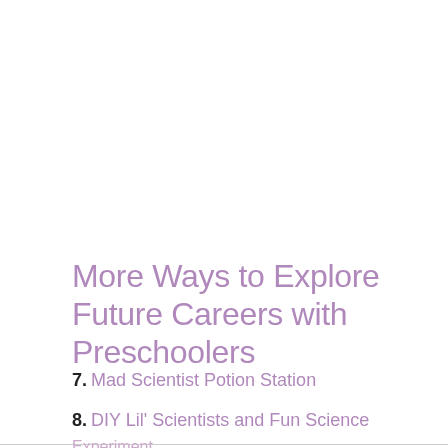More Ways to Explore Future Careers with Preschoolers
7. Mad Scientist Potion Station
8. DIY Lil' Scientists and Fun Science
Experiment